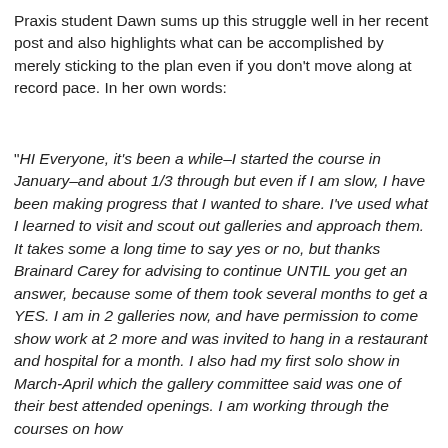Praxis student Dawn sums up this struggle well in her recent post and also highlights what can be accomplished by merely sticking to the plan even if you don't move along at record pace. In her own words:
"HI Everyone, it's been a while–I started the course in January–and about 1/3 through but even if I am slow, I have been making progress that I wanted to share. I've used what I learned to visit and scout out galleries and approach them. It takes some a long time to say yes or no, but thanks Brainard Carey for advising to continue UNTIL you get an answer, because some of them took several months to get a YES. I am in 2 galleries now, and have permission to come show work at 2 more and was invited to hang in a restaurant and hospital for a month. I also had my first solo show in March-April which the gallery committee said was one of their best attended openings. I am working through the courses on how to best face next week's show...